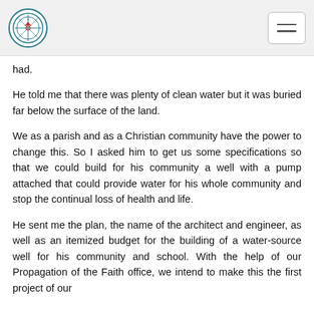[Logo] [Navigation menu button]
had.
He told me that there was plenty of clean water but it was buried far below the surface of the land.
We as a parish and as a Christian community have the power to change this. So I asked him to get us some specifications so that we could build for his community a well with a pump attached that could provide water for his whole community and stop the continual loss of health and life.
He sent me the plan, the name of the architect and engineer, as well as an itemized budget for the building of a water-source well for his community and school. With the help of our Propagation of the Faith office, we intend to make this the first project of our